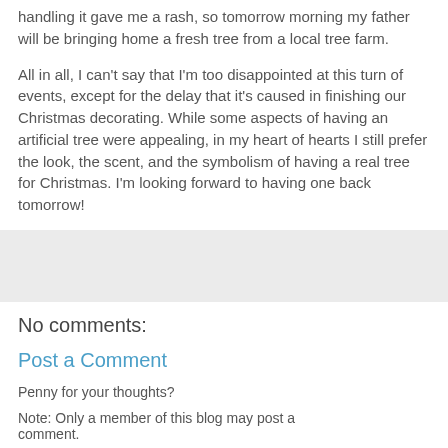handling it gave me a rash, so tomorrow morning my father will be bringing home a fresh tree from a local tree farm.
All in all, I can't say that I'm too disappointed at this turn of events, except for the delay that it's caused in finishing our Christmas decorating. While some aspects of having an artificial tree were appealing, in my heart of hearts I still prefer the look, the scent, and the symbolism of having a real tree for Christmas. I'm looking forward to having one back tomorrow!
[Figure (other): Gray placeholder box]
No comments:
Post a Comment
Penny for your thoughts?
Note: Only a member of this blog may post a comment.